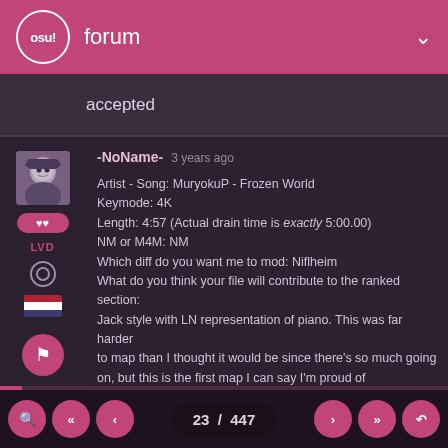osu! forum
accepted
-NoName- 3 years ago
Artist - Song: MuryokuP - Frozen World
Keymode: 4K
Length: 4:57 (Actual drain time is exactly 5:00.00)
NM or M4M: NM
Which diff do you want me to mod: Niflheim
What do you think your file will contribute to the ranked section: Jack style with LN representation of piano. This was far harder to map than I thought it would be since there's so much going on, but this is the first map I can say I'm proud of
Link:
https://osu.ppy.sh/beatmapsets/1095283#mania/2289053

...what even is that thing? It looks like a cursed Winnie the Pooh
23 / 447